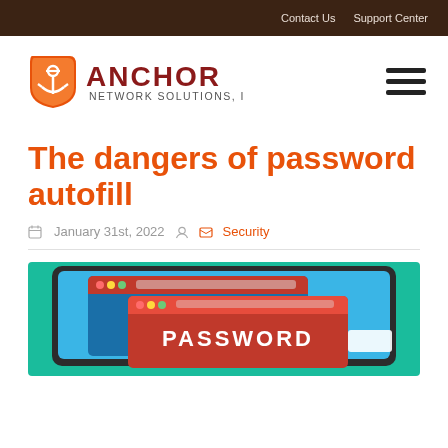Contact Us  Support Center
[Figure (logo): Anchor Network Solutions, Inc. logo with orange anchor icon and dark red bold text]
The dangers of password autofill
January 31st, 2022  Security
[Figure (illustration): Illustration showing browser windows with password prompt on teal background. Red browser window displays the word PASSWORD.]